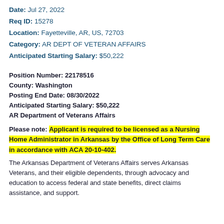Date: Jul 27, 2022
Req ID: 15278
Location: Fayetteville, AR, US, 72703
Category: AR DEPT OF VETERAN AFFAIRS
Anticipated Starting Salary: $50,222
Position Number: 22178516
County: Washington
Posting End Date: 08/30/2022
Anticipated Starting Salary: $50,222
AR Department of Veterans Affairs
Please note: Applicant is required to be licensed as a Nursing Home Administrator in Arkansas by the Office of Long Term Care in accordance with ACA 20-10-402.
The Arkansas Department of Veterans Affairs serves Arkansas Veterans, and their eligible dependents, through advocacy and education to access federal and state benefits, direct claims assistance, and support.